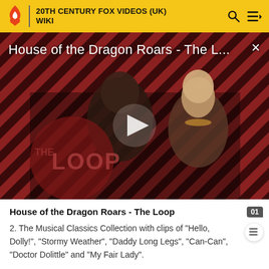20TH CENTURY FOX VIDEOS (UK) WIKI
[Figure (screenshot): Video thumbnail for House of the Dragon Roars - The Loop, showing two characters from the show against a diagonal red and black striped background with THE LOOP watermark and a play button overlay]
House of the Dragon Roars - The Loop
2. The Musical Classics Collection with clips of "Hello, Dolly!", "Stormy Weather", "Daddy Long Legs", "Can-Can", "Doctor Dolittle" and "My Fair Lady".